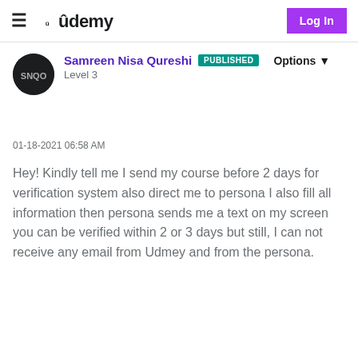Udemy | Log In
Samreen Nisa Qureshi PUBLISHED
Level 3
Options
01-18-2021 06:58 AM
Hey! Kindly tell me I send my course before 2 days for verification system also direct me to persona I also fill all information then persona sends me a text on my screen you can be verified within 2 or 3 days but still, I can not receive any email from Udmey and from the persona.